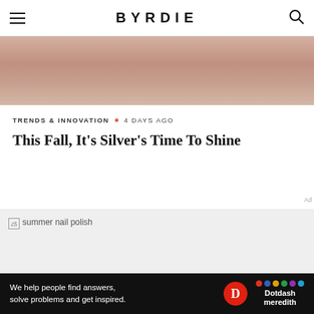BYRDIE
[Figure (photo): Close-up photo of a person's face/neck area, warm skin tones, partially cropped]
TRENDS & INNOVATION  •  4 DAYS AGO
This Fall, It's Silver's Time To Shine
[Figure (photo): Broken/loading image placeholder labeled 'summer nail polish']
We help people find answers, solve problems and get inspired.  Dotdash meredith